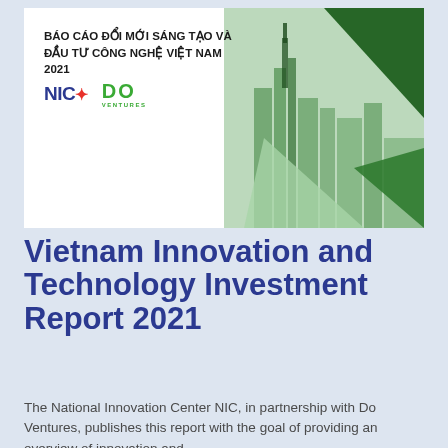[Figure (illustration): Cover image of the Vietnam Innovation and Technology Investment Report 2021, featuring geometric green triangle decorations and a city skyline photo, with Vietnamese title text and NIC and Do Ventures logos.]
Vietnam Innovation and Technology Investment Report 2021
The National Innovation Center NIC, in partnership with Do Ventures, publishes this report with the goal of providing an overview of innovation and